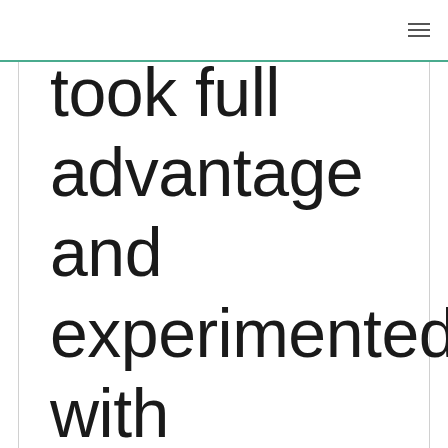≡
took full advantage and experimented with zucchini and oats with my latest creation. T